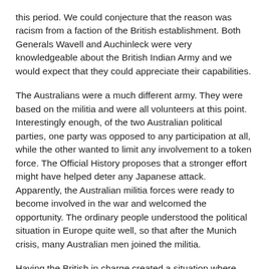this period. We could conjecture that the reason was racism from a faction of the British establishment. Both Generals Wavell and Auchinleck were very knowledgeable about the British Indian Army and we would expect that they could appreciate their capabilities.
The Australians were a much different army. They were based on the militia and were all volunteers at this point. Interestingly enough, of the two Australian political parties, one party was opposed to any participation at all, while the other wanted to limit any involvement to a token force. The Official History proposes that a stronger effort might have helped deter any Japanese attack. Apparently, the Australian militia forces were ready to become involved in the war and welcomed the opportunity. The ordinary people understood the political situation in Europe quite well, so that after the Munich crisis, many Australian men joined the militia.
Having the British in charge created a situation where good officers from the Commonwealth countries were ignored, leaving the top positions for British officers drawn from a rather limited group of officers, not all of whom were really capable of command. We can use an idea of Churchill's...